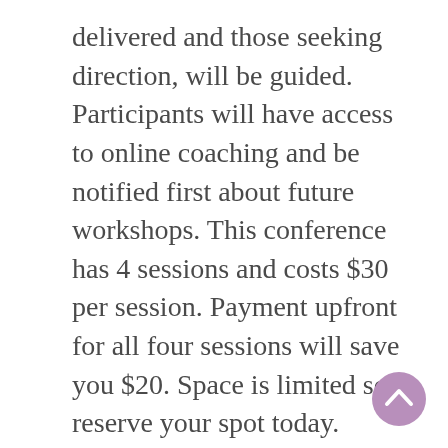delivered and those seeking direction, will be guided. Participants will have access to online coaching and be notified first about future workshops. This conference has 4 sessions and costs $30 per session. Payment upfront for all four sessions will save you $20. Space is limited so reserve your spot today.
[Figure (other): A circular purple/mauve scroll-to-top button with a white upward-pointing chevron arrow, positioned in the bottom-right corner of the page.]